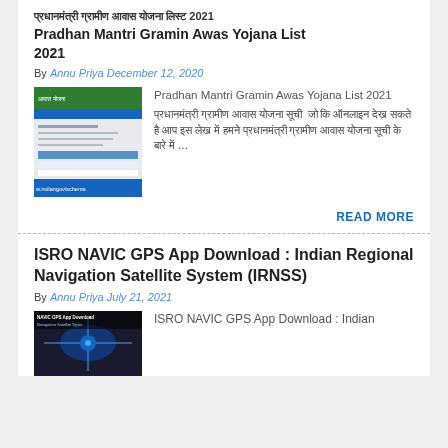प्रधानमंत्री ग्रामीण आवास योजना लिस्ट 2021 Pradhan Mantri Gramin Awas Yojana List 2021
By Annu Priya December 12, 2020
[Figure (screenshot): Screenshot of Pradhan Mantri Gramin Awas Yojana website with indiangovtscheme.com watermark]
Pradhan Mantri Gramin Awas Yojana List 2021 प्रधानमंत्री ग्रामीण आवास योजना सूची  जो कि ऑनलाइन देख सकते है आप इस लेख में हमने प्रधानमंत्री ग्रामीण आवास योजना सूची के बारे में ...
READ MORE
ISRO NAVIC GPS App Download : Indian Regional Navigation Satellite System (IRNSS)
By Annu Priya July 21, 2021
[Figure (screenshot): Screenshot of NAVIC GPS App Download Navigation Satellite System article thumbnail]
ISRO NAVIC GPS App Download : Indian